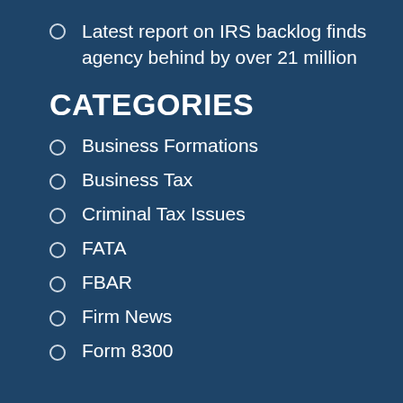Latest report on IRS backlog finds agency behind by over 21 million
CATEGORIES
Business Formations
Business Tax
Criminal Tax Issues
FATA
FBAR
Firm News
Form 8300